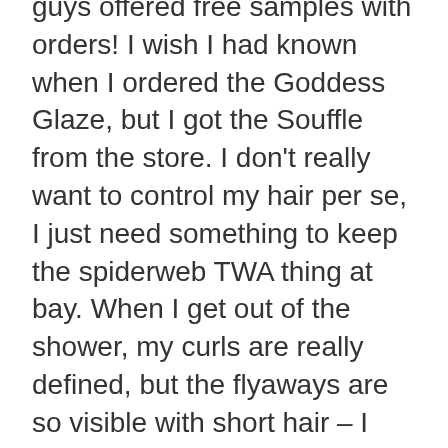guys offered free samples with orders! I wish I had known when I ordered the Goddess Glaze, but I got the Souffle from the store. I don't really want to control my hair per se, I just need something to keep the spiderweb TWA thing at bay. When I get out of the shower, my curls are really defined, but the flyaways are so visible with short hair – I hope this gets better as my hair grows out.
As for my comment regarding the size, the size you guys sell is totally fine, lol…I was just playing at the end because it actually looks much bigger! In my part II, I did say that I liked the Souffle mixed with the Goddess Glaze, but I'm trying to get away from gels because I like the frizz control, but a lot of the time it gives too much hold